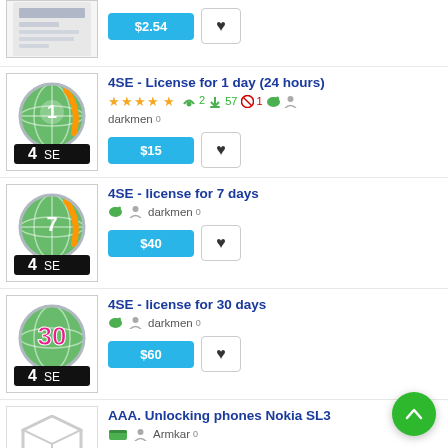[Figure (screenshot): Partial product image at top of page, partially cropped]
$2.54
4SE - License for 1 day (24 hours)
★★★★★ 👍2 ⬇57 🚫1 🐷 👤 darkmen 0
$15
4SE - license for 7 days
🐷 👤 darkmen 0
$40
4SE - license for 30 days
🐷 👤 darkmen 0
$60
AAA. Unlocking phones Nokia SL3
💳 👤 Armkar 0
$20